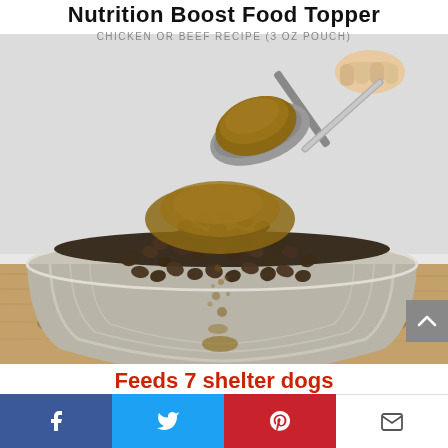Nutrition Boost Food Topper
CHICKEN OR BEEF RECIPE (3 OZ POUCH)
[Figure (photo): A hand holding a spoon of powdered food topper being poured into a stainless steel dog bowl filled with kibble, on a wooden surface with white background.]
Feeds 7 shelter dogs
[Figure (infographic): Social sharing bar with Facebook, Twitter, Pinterest, and Email icons]